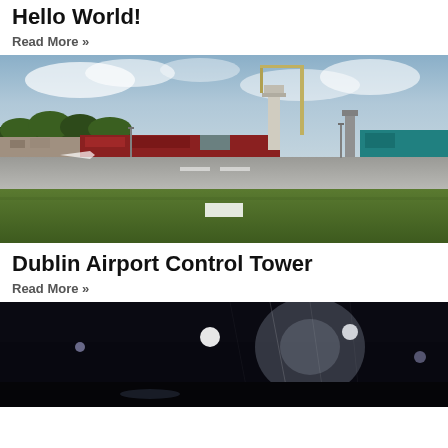Hello World!
Read More »
[Figure (photo): Aerial view of an airport tarmac with control tower, crane, terminal buildings, runway, and green grass in foreground under cloudy sky]
Dublin Airport Control Tower
Read More »
[Figure (photo): Dark nighttime photo showing lights and reflections, partially visible]